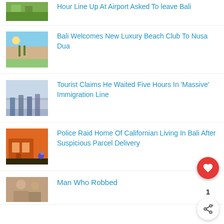Hour Line Up At Airport Asked To leave Bali
[Figure (photo): Small thumbnail photo of tropical/airport scene]
Bali Welcomes New Luxury Beach Club To Nusa Dua
[Figure (photo): Small thumbnail photo of beach scene]
Tourist Claims He Waited Five Hours In 'Massive' Immigration Line
[Figure (photo): Small thumbnail photo of people in immigration line]
Police Raid Home Of Californian Living In Bali After Suspicious Parcel Delivery
[Figure (photo): Small thumbnail photo of building/storefront]
Man Who Robbed
[Figure (photo): Small thumbnail photo]